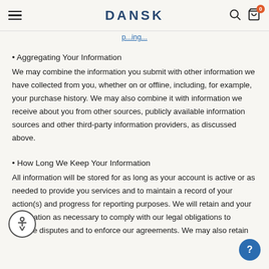DANSK
p...g...
• Aggregating Your Information
We may combine the information you submit with other information we have collected from you, whether on or offline, including, for example, your purchase history. We may also combine it with information we receive about you from other sources, publicly available information sources and other third-party information providers, as discussed above.
• How Long We Keep Your Information
All information will be stored for as long as your account is active or as needed to provide you services and to maintain a record of your action(s) and progress for reporting purposes. We will retain and your information as necessary to comply with our legal obligations to resolve disputes and to enforce our agreements. We may also retain